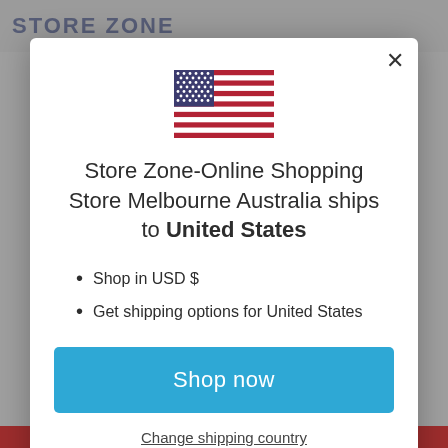[Figure (screenshot): Modal popup dialog on an e-commerce website showing US flag, shipping destination message, bullet points, and action buttons]
Store Zone-Online Shopping Store Melbourne Australia ships to United States
Shop in USD $
Get shipping options for United States
Shop now
Change shipping country